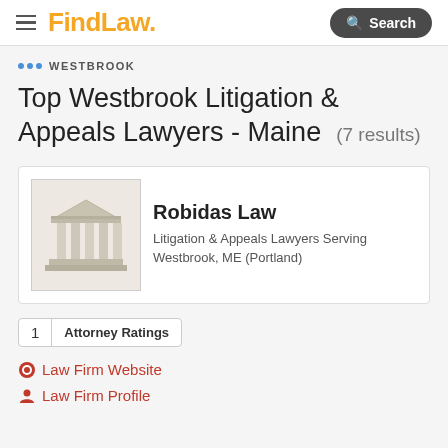FindLaw. Search
... WESTBROOK
Top Westbrook Litigation & Appeals Lawyers - Maine (7 results)
[Figure (logo): Law firm building/courthouse icon, gray-beige colored]
Robidas Law
Litigation & Appeals Lawyers Serving Westbrook, ME (Portland)
1  Attorney Ratings
Law Firm Website
Law Firm Profile